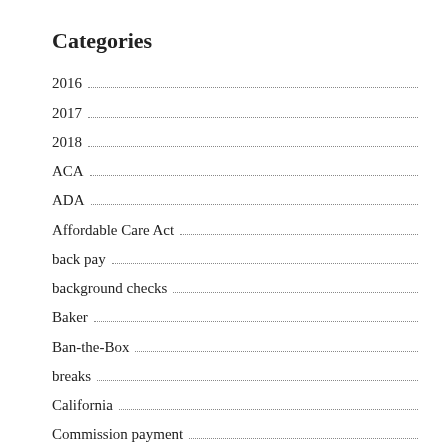Categories
2016
2017
2018
ACA
ADA
Affordable Care Act
back pay
background checks
Baker
Ban-the-Box
breaks
California
Commission payment